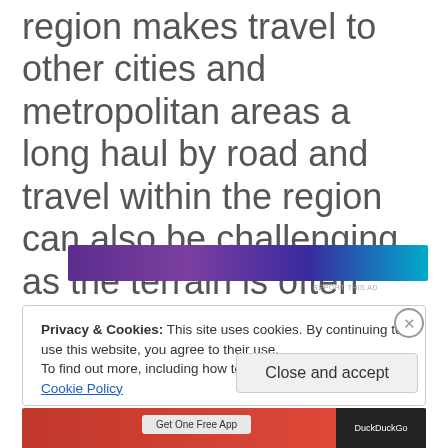region makes travel to other cities and metropolitan areas a long haul by road and travel within the region can also be challenging as the terrain is often steep and prone to land slips.
[Figure (other): Advertisement banner with purple and blue gradient design]
REPORT THIS AD
Privacy & Cookies: This site uses cookies. By continuing to use this website, you agree to their use.
To find out more, including how to control cookies, see here: Cookie Policy
Close and accept
[Figure (other): Bottom advertisement banner with red background, 'Get One Free App' button, and DuckDuckGo branding]